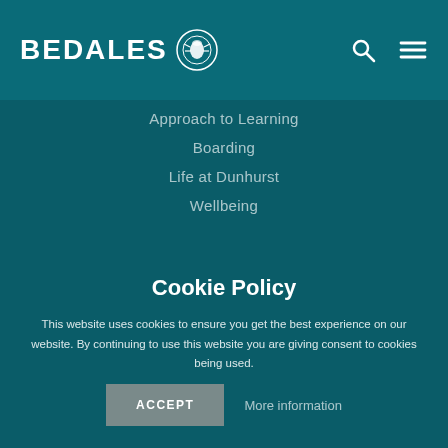BEDALES
Approach to Learning
Boarding
Life at Dunhurst
Wellbeing
Cookie Policy
This website uses cookies to ensure you get the best experience on our website. By continuing to use this website you are giving consent to cookies being used.
ACCEPT
More information